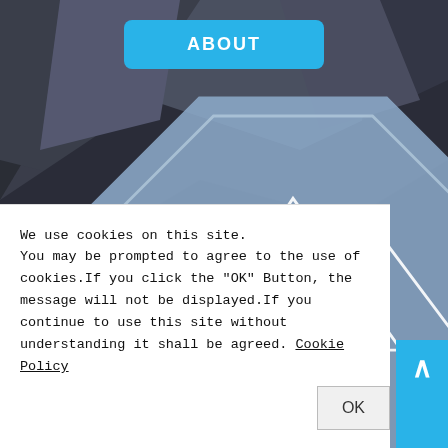[Figure (screenshot): Website screenshot showing a mountain background photo with a blue 'ABOUT' button at top, a hexagonal/octagonal logo with mountain peaks and a bird (ptarmigan) silhouette and text 'NAGANO', and a cookie consent notice at the bottom with an OK button and scroll-to-top arrow.]
We use cookies on this site. You may be prompted to agree to the use of cookies.If you click the "OK" Button, the message will not be displayed.If you continue to use this site without understanding it shall be agreed. Cookie Policy